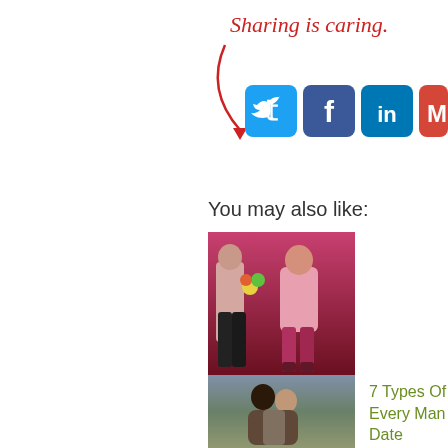[Figure (illustration): Sharing is caring text with arrow pointing to social media icons (Twitter, Facebook, LinkedIn, Gmail)]
You may also like:
[Figure (photo): Man and woman in pink dress standing on red background]
Are Men Afraid of Rejection?
7 Types Of Women Every Man Should Date
9 T... Ma... Wo...
[Figure (photo): Couple embracing outdoors]
[Figure (photo): Partial image on right side]